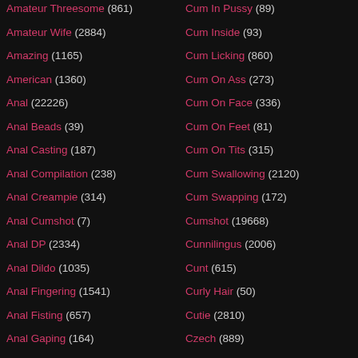Amateur Threesome (861)
Amateur Wife (2884)
Amazing (1165)
American (1360)
Anal (22226)
Anal Beads (39)
Anal Casting (187)
Anal Compilation (238)
Anal Creampie (314)
Anal Cumshot (7)
Anal DP (2334)
Anal Dildo (1035)
Anal Fingering (1541)
Anal Fisting (657)
Anal Gaping (164)
Cum In Pussy (89)
Cum Inside (93)
Cum Licking (860)
Cum On Ass (273)
Cum On Face (336)
Cum On Feet (81)
Cum On Tits (315)
Cum Swallowing (2120)
Cum Swapping (172)
Cumshot (19668)
Cunnilingus (2006)
Cunt (615)
Curly Hair (50)
Cutie (2810)
Czech (889)